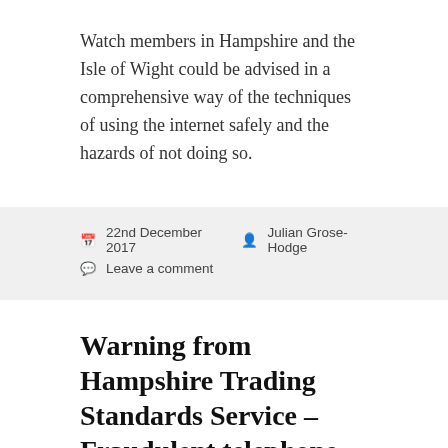Watch members in Hampshire and the Isle of Wight could be advised in a comprehensive way of the techniques of using the internet safely and the hazards of not doing so.
22nd December 2017  Julian Grose-Hodge  Leave a comment
Warning from Hampshire Trading Standards Service – Fraudulent telephone call – TalkTalk